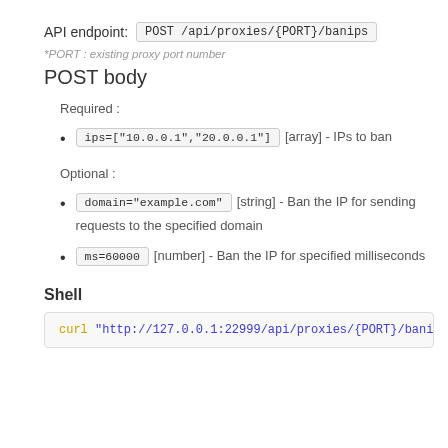API endpoint: POST /api/proxies/{PORT}/banips
*PORT : existing proxy port number
POST body
Required :
ips=["10.0.0.1","20.0.0.1"] [array] - IPs to ban
Optional :
domain="example.com" [string] - Ban the IP for sending requests to the specified domain
ms=60000 [number] - Ban the IP for specified milliseconds
Shell
curl "http://127.0.0.1:22999/api/proxies/{PORT}/banips" -H "Content-T